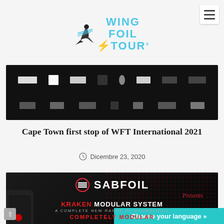[Figure (logo): Wing Foil Tour logo with stylized rider icon and cyan text]
[Figure (photo): Sponsors banner on dark background showing multiple brand logos including S brand, W brand, and others in two rows]
Cape Town first stop of WFT International 2021
Dicembre 23, 2020
[Figure (photo): SABFOIL advertisement showing KRAKEN MODULAR SYSTEM - A COMPLETE NEW RANGE OF HYDROFOILS - COMPLETELY MODULAR, with product image on dark background with red dot pattern]
Choose your language »